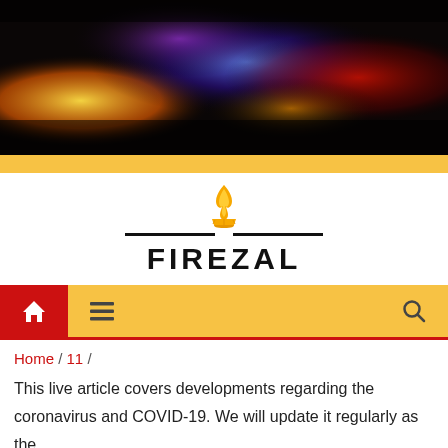[Figure (photo): Dark dramatic hero image with colorful blurred bokeh lights in red, orange, yellow, blue, and purple tones against a dark background.]
[Figure (logo): Firezal logo: a golden flame/candle icon above horizontal lines, with the brand name FIREZAL in bold black capital letters below.]
Navigation bar with home icon (red background), hamburger menu icon, and search icon on yellow background with red bottom border.
Home / 11 /
This live article covers developments regarding the coronavirus and COVID-19. We will update it regularly as the